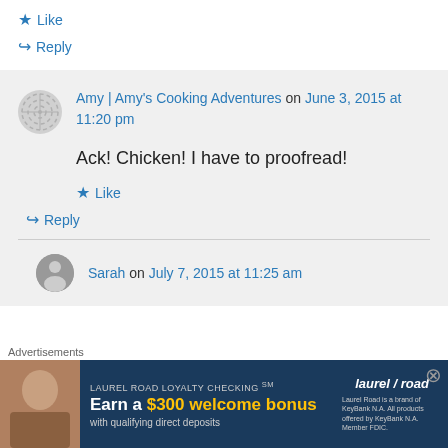★ Like
↪ Reply
Amy | Amy's Cooking Adventures on June 3, 2015 at 11:20 pm
Ack! Chicken! I have to proofread!
★ Like
↪ Reply
Sarah on July 7, 2015 at 11:25 am
Advertisements
[Figure (screenshot): Laurel Road Loyalty Checking advertisement banner: Earn a $300 welcome bonus with qualifying direct deposits]